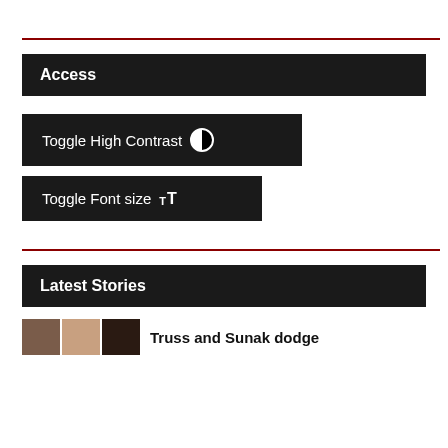Access
Toggle High Contrast
Toggle Font size
Latest Stories
Truss and Sunak dodge